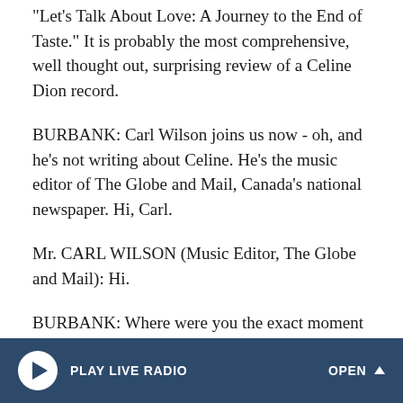"Let's Talk About Love: A Journey to the End of Taste." It is probably the most comprehensive, well thought out, surprising review of a Celine Dion record.
BURBANK: Carl Wilson joins us now - oh, and he's not writing about Celine. He's the music editor of The Globe and Mail, Canada's national newspaper. Hi, Carl.
Mr. CARL WILSON (Music Editor, The Globe and Mail): Hi.
BURBANK: Where were you the exact moment this idea came to you to do this super thorough study of Celine?
Mr. WILSON: Well, I was at my desk, I suppose. I was - I
PLAY LIVE RADIO   OPEN